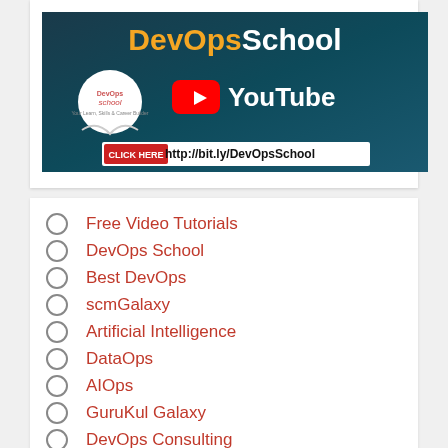[Figure (screenshot): DevOpsSchool YouTube channel banner with logo, YouTube play button, and URL http://bit.ly/DevOpsSchool with CLICK HERE button]
Free Video Tutorials
DevOps School
Best DevOps
scmGalaxy
Artificial Intelligence
DataOps
AIOps
GuruKul Galaxy
DevOps Consulting
DevOps Freelancers
DevOps Trainer
Free Ebooks